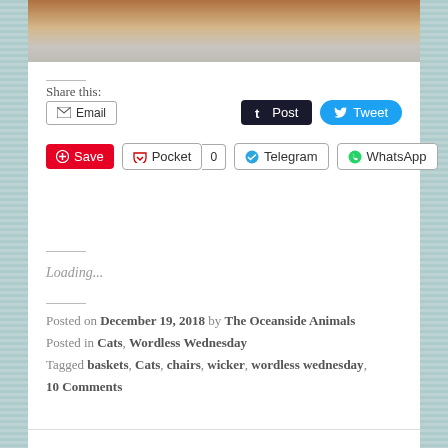[Figure (photo): Top strip of a photo showing a wicker basket/chair leg on a concrete floor]
Share this:
Email | Post | Tweet | Save | Pocket 0 | Telegram | WhatsApp
Loading...
Posted on December 19, 2018 by The Oceanside Animals
Posted in Cats, Wordless Wednesday
Tagged baskets, Cats, chairs, wicker, wordless wednesday,
10 Comments